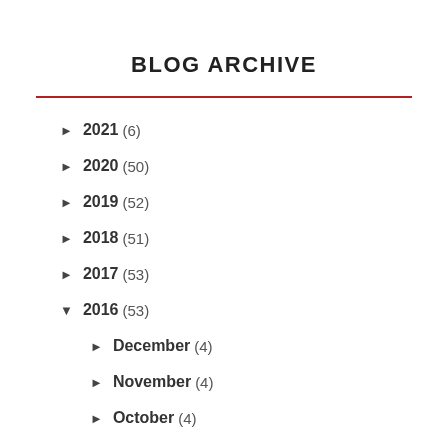BLOG ARCHIVE
► 2021 (6)
► 2020 (50)
► 2019 (52)
► 2018 (51)
► 2017 (53)
▼ 2016 (53)
► December (4)
► November (4)
► October (4)